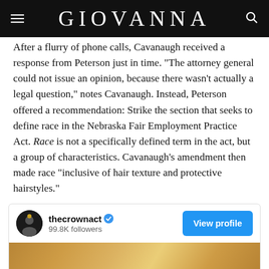GIOVANNA
After a flurry of phone calls, Cavanaugh received a response from Peterson just in time. “The attorney general could not issue an opinion, because there wasn’t actually a legal question,” notes Cavanaugh. Instead, Peterson offered a recommendation: Strike the section that seeks to define race in the Nebraska Fair Employment Practice Act. Race is not a specifically defined term in the act, but a group of characteristics. Cavanaugh’s amendment then made race “inclusive of hair texture and protective hairstyles.”
[Figure (screenshot): Instagram-style embedded social media card for @thecrownact with 99.8K followers, a 'View profile' blue button, and a partial golden/amber colored image below]